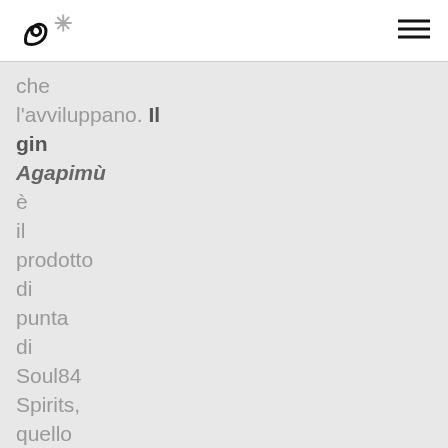Soul84 Spirits logo and navigation menu
che l'avviluppano. Il gin Agapimù è il prodotto di punta di Soul84 Spirits, quello da cui è iniziato tutto. Come